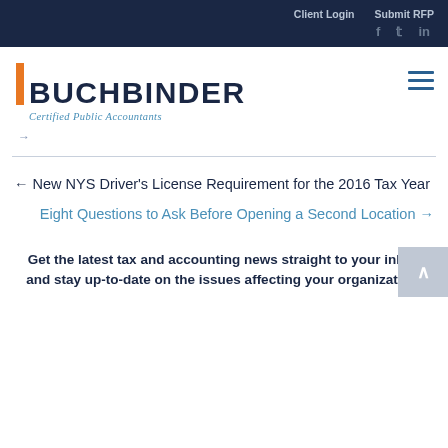Client Login   Submit RFP   f   tw   in
[Figure (logo): Buchbinder Certified Public Accountants logo with orange vertical bar and dark navy wordmark]
←
← New NYS Driver's License Requirement for the 2016 Tax Year
Eight Questions to Ask Before Opening a Second Location →
Get the latest tax and accounting news straight to your inbox and stay up-to-date on the issues affecting your organization.